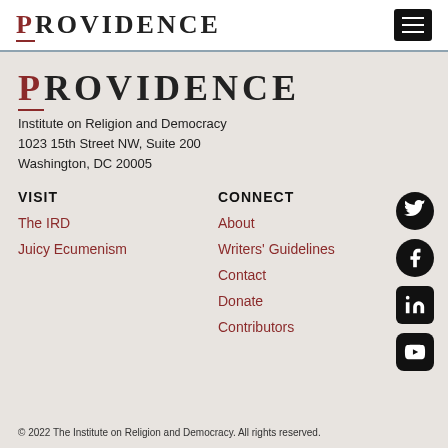PROVIDENCE
PROVIDENCE
Institute on Religion and Democracy
1023 15th Street NW, Suite 200
Washington, DC 20005
VISIT
The IRD
Juicy Ecumenism
CONNECT
About
Writers' Guidelines
Contact
Donate
Contributors
[Figure (infographic): Social media icons: Twitter, Facebook, LinkedIn, YouTube]
© 2022 The Institute on Religion and Democracy. All rights reserved.